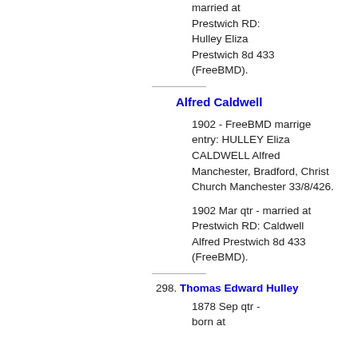married at Prestwich RD: Hulley Eliza Prestwich 8d 433 (FreeBMD).
Alfred Caldwell
1902 - FreeBMD marrige entry: HULLEY Eliza CALDWELL Alfred Manchester, Bradford, Christ Church Manchester 33/8/426.
1902 Mar qtr - married at Prestwich RD: Caldwell Alfred Prestwich 8d 433 (FreeBMD).
298. Thomas Edward Hulley
1878 Sep qtr - born at